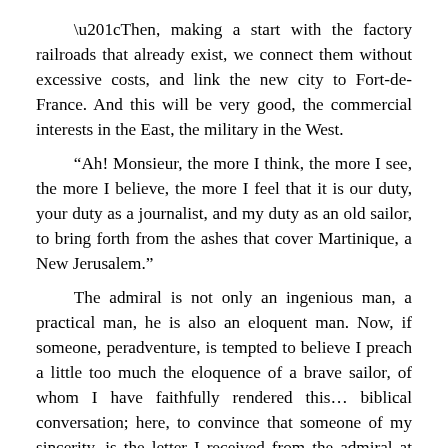“Then, making a start with the factory railroads that already exist, we connect them without excessive costs, and link the new city to Fort-de-France. And this will be very good, the commercial interests in the East, the military in the West.
“Ah! Monsieur, the more I think, the more I see, the more I believe, the more I feel that it is our duty, your duty as a journalist, and my duty as an old sailor, to bring forth from the ashes that cover Martinique, a New Jerusalem.”
The admiral is not only an ingenious man, a practical man, he is also an eloquent man. Now, if someone, peradventure, is tempted to believe I preach a little too much the eloquence of a brave sailor, of whom I have faithfully rendered this… biblical conversation; here, to convince that someone of my sincerity, is the letter I received from the admiral at the moment of my departure: